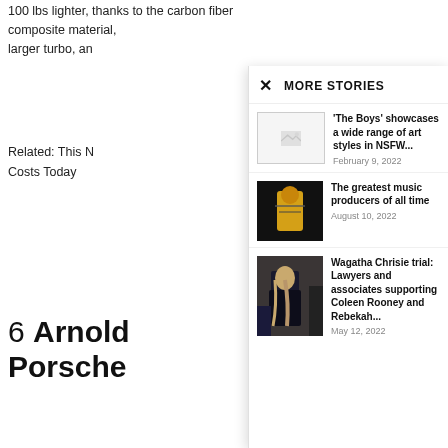100 lbs lighter, thanks to the carbon fiber composite material,
larger turbo, an
Related: This N      Costs Today
6 Arnold     Porsche
MORE STORIES
'The Boys' showcases a wide range of art styles in NSFW...
February 9, 2022
The greatest music producers of all time
August 10, 2022
Wagatha Chrisie trial: Lawyers and associates supporting Coleen Rooney and Rebekah...
May 12, 2022